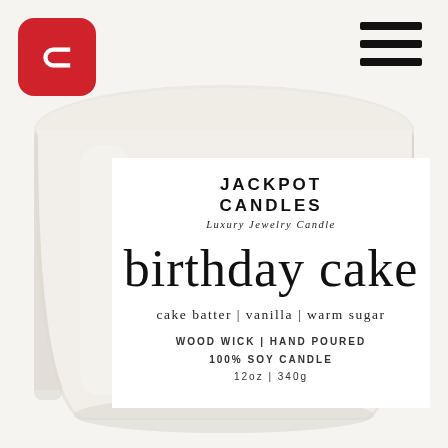[Figure (photo): Close-up photo of a white soy wax candle in a clear glass jar, with a white product label on the front. The candle fills most of the frame with a soft cream/white color.]
[Figure (logo): Red rounded-square logo with a white arrow/lightning bolt symbol inside, positioned top-left corner of the page.]
[Figure (other): Three horizontal black lines (hamburger menu icon) in the top-right corner of the page.]
JACKPOT CANDLES
Luxury Jewelry Candle
birthday cake
cake batter | vanilla | warm sugar
WOOD WICK | HAND POURED
100% SOY CANDLE
12oz | 340g